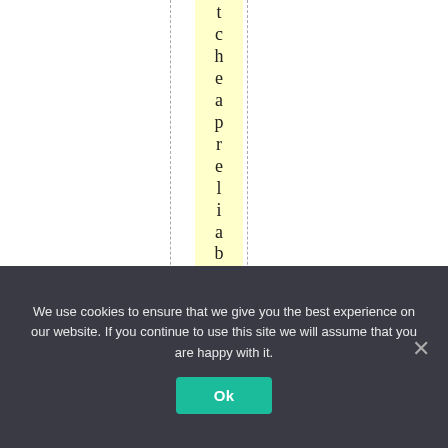tcheapreliabl eelec
We use cookies to ensure that we give you the best experience on our website. If you continue to use this site we will assume that you are happy with it.